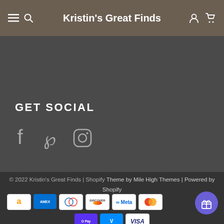Kristin's Great Finds
GET SOCIAL
[Figure (other): Social media icons: Facebook, Pinterest, Instagram]
© 2022 Kristin's Great Finds | Shopify Theme by Mile High Themes | Powered by Shopify
[Figure (other): Payment method icons: Amazon, Amex, Diners Club, Discover, Meta Pay, Mastercard, Shop Pay, Venmo, Visa, and a gift/rewards button]